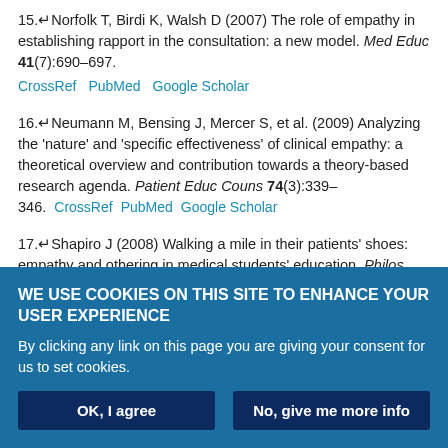15. Norfolk T, Birdi K, Walsh D (2007) The role of empathy in establishing rapport in the consultation: a new model. Med Educ 41(7):690–697. CrossRef PubMed Google Scholar
16. Neumann M, Bensing J, Mercer S, et al. (2009) Analyzing the 'nature' and 'specific effectiveness' of clinical empathy: a theoretical overview and contribution towards a theory-based research agenda. Patient Educ Couns 74(3):339–346. CrossRef PubMed Google Scholar
17. Shapiro J (2008) Walking a mile in their patients' shoes: empathy and othering in medical students' education. Philos Ethics Humanit Med 3:10. CrossRef PubMed Google Scholar
18. Halpern J (2003) What is clinical empathy? J Gen Intern Med 18(8):670–674. CrossRef PubMed Google Scholar
WE USE COOKIES ON THIS SITE TO ENHANCE YOUR USER EXPERIENCE
By clicking any link on this page you are giving your consent for us to set cookies.